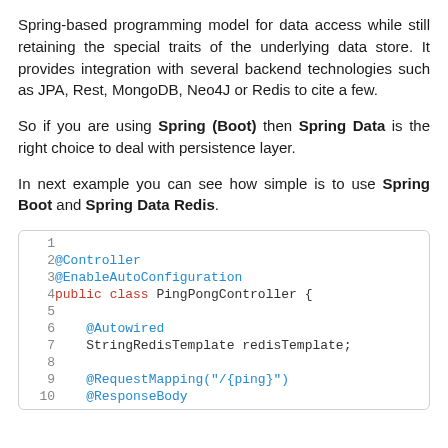Spring-based programming model for data access while still retaining the special traits of the underlying data store. It provides integration with several backend technologies such as JPA, Rest, MongoDB, Neo4J or Redis to cite a few.
So if you are using Spring (Boot) then Spring Data is the right choice to deal with persistence layer.
In next example you can see how simple is to use Spring Boot and Spring Data Redis.
[Figure (screenshot): Code block showing Java Spring Boot controller with annotations @Controller, @EnableAutoConfiguration, public class PingPongController, @Autowired, StringRedisTemplate redisTemplate, @RequestMapping, @ResponseBody]